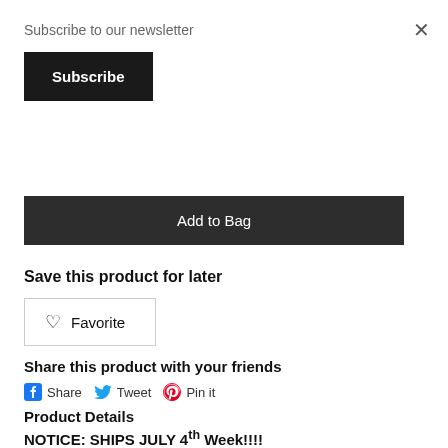Subscribe to our newsletter
Subscribe
×
Add to Bag
Save this product for later
♡  Favorite
Share this product with your friends
Share  Tweet  Pin it
Product Details
NOTICE: SHIPS JULY 4th Week!!!!
TUWA Pro MOAB Rock Pack Set...